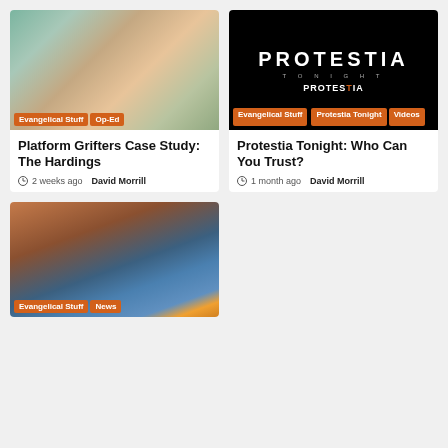[Figure (photo): Two people in graduation caps and gowns smiling at a ceremony]
Evangelical Stuff  Op-Ed
Platform Grifters Case Study: The Hardings
2 weeks ago  David Morrill
[Figure (screenshot): Protestia Tonight title screen on black background with logo and category tags]
Evangelical Stuff  Protestia Tonight  Videos
Protestia Tonight: Who Can You Trust?
1 month ago  David Morrill
[Figure (photo): Man in suit gesturing with one finger raised against a sunset sky background]
Evangelical Stuff  News